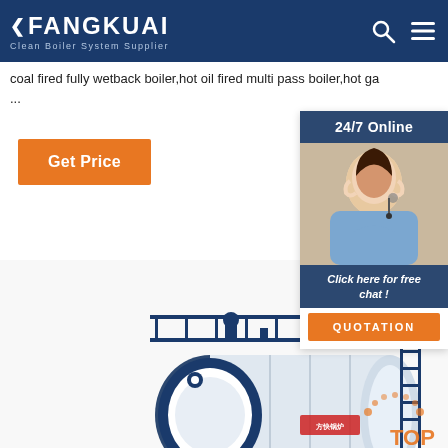FANGKUAI - Clean Boiler System Supplier
coal fired fully wetback boiler,hot oil fired multi pass boiler,hot ga...
...
[Figure (screenshot): Get Price orange button]
[Figure (photo): 24/7 Online chat widget with female customer service representative wearing headset, with 'Click here for free chat!' text and orange QUOTATION button]
[Figure (illustration): Industrial boiler product image - large horizontal cylindrical boiler in white and dark blue with walkway railings on top, branded with Fangkuai logo. TOP badge in orange on right side.]